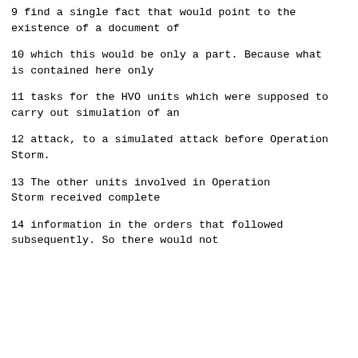9      find a single fact that would point to the existence of a document of
10      which this would be only a part.  Because what is contained here only
11      tasks for the HVO units which were supposed to carry out simulation of an
12      attack, to a simulated attack before Operation Storm.
13               The other units involved in Operation Storm received complete
14      information in the orders that followed subsequently.  So there would not